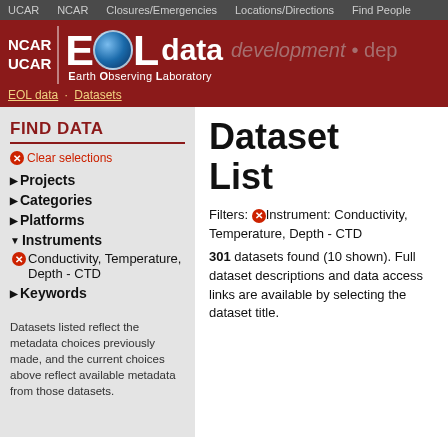UCAR  NCAR  Closures/Emergencies  Locations/Directions  Find People
[Figure (logo): NCAR UCAR EOL data Earth Observing Laboratory logo on red background]
EOL data · Datasets
FIND DATA
Clear selections
Projects
Categories
Platforms
Instruments
Conductivity, Temperature, Depth - CTD
Keywords
Datasets listed reflect the metadata choices previously made, and the current choices above reflect available metadata from those datasets.
Dataset List
Filters: Instrument: Conductivity, Temperature, Depth - CTD
301 datasets found (10 shown). Full dataset descriptions and data access links are available by selecting the dataset title.